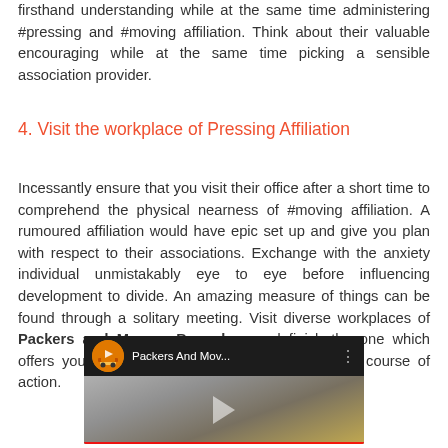firsthand understanding while at the same time administering #pressing and #moving affiliation. Think about their valuable encouraging while at the same time picking a sensible association provider.
4. Visit the workplace of Pressing Affiliation
Incessantly ensure that you visit their office after a short time to comprehend the physical nearness of #moving affiliation. A rumoured affiliation would have epic set up and give you plan with respect to their associations. Exchange with the anxiety individual unmistakably eye to eye before influencing development to divide. An amazing measure of things can be found through a solitary meeting. Visit diverse workplaces of Packers and Movers Bangalore and finish the one which offers you the #best associations inside spending course of action.
[Figure (screenshot): YouTube video thumbnail showing 'Packers And Mov...' channel with logo icon, three-dot menu, and a preview image of movers.]